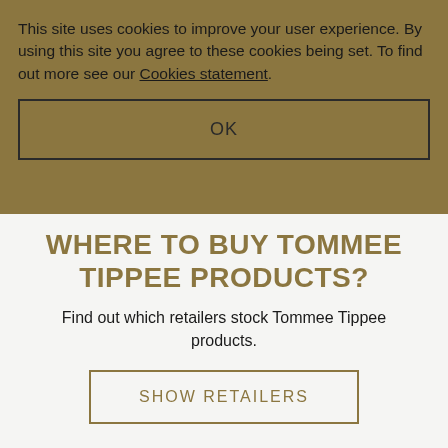This site uses cookies to improve your user experience. By using this site you agree to these cookies being set. To find out more see our Cookies statement.
OK
WHERE TO BUY TOMMEE TIPPEE PRODUCTS?
Find out which retailers stock Tommee Tippee products.
SHOW RETAILERS